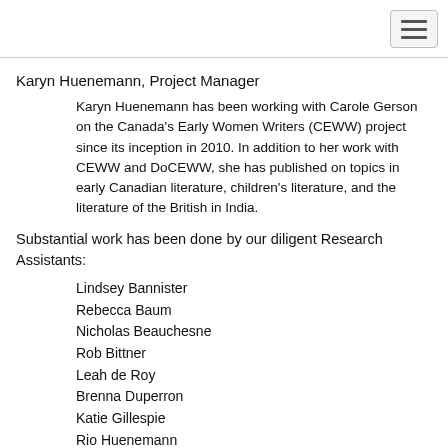Karyn Huenemann, Project Manager
Karyn Huenemann has been working with Carole Gerson on the Canada's Early Women Writers (CEWW) project since its inception in 2010. In addition to her work with CEWW and DoCEWW, she has published on topics in early Canadian literature, children's literature, and the literature of the British in India.
Substantial work has been done by our diligent Research Assistants:
Lindsey Bannister
Rebecca Baum
Nicholas Beauchesne
Rob Bittner
Leah de Roy
Brenna Duperron
Katie Gillespie
Rio Huenemann
Alison McDonald
…